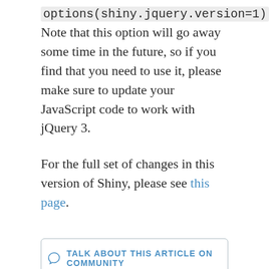options(shiny.jquery.version=1). Note that this option will go away some time in the future, so if you find that you need to use it, please make sure to update your JavaScript code to work with jQuery 3.
For the full set of changes in this version of Shiny, please see this page.
TALK ABOUT THIS ARTICLE ON COMMUNITY
TAGS: SHINY PACKAGES SHINY